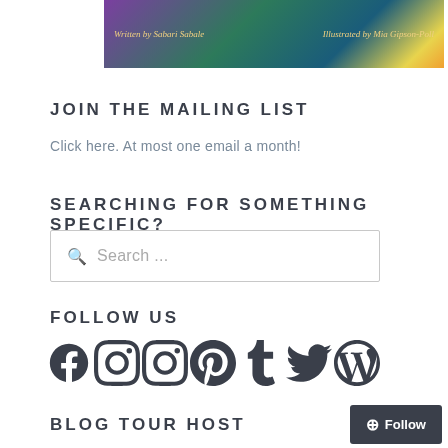[Figure (illustration): Book cover image with colorful aurora/nature background. Text reads 'Written by Sabari Sabale' and 'Illustrated by Mia Gipson-Poll']
JOIN THE MAILING LIST
Click here.  At most one email a month!
SEARCHING FOR SOMETHING SPECIFIC?
Search ...
FOLLOW US
[Figure (infographic): Row of social media icons: Facebook, Instagram, Instagram, Pinterest, Tumblr, Twitter, WordPress]
BLOG TOUR HOST
Follow